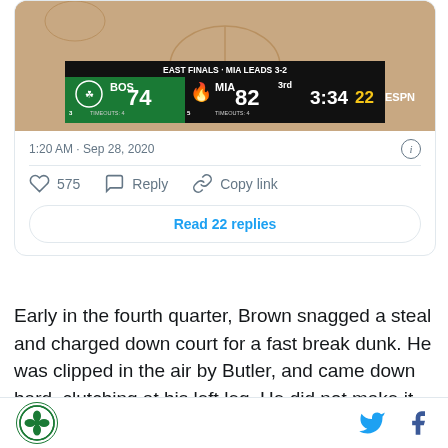[Figure (screenshot): ESPN NBA scoreboard showing BOS 74 vs MIA 82, East Finals - MIA Leads 3-2, 3rd quarter, 3:34 remaining, shot clock 22]
1:20 AM · Sep 28, 2020
575  Reply  Copy link
Read 22 replies
Early in the fourth quarter, Brown snagged a steal and charged down court for a fast break dunk. He was clipped in the air by Butler, and came down hard, clutching at his left leg. He did not make it up the court
Boston Celtics logo, Twitter icon, Facebook icon